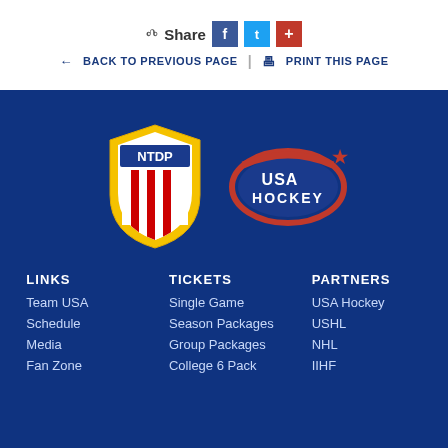Share
← BACK TO PREVIOUS PAGE  |  🖨 PRINT THIS PAGE
[Figure (logo): NTDP shield logo and USA Hockey logo on dark blue background]
LINKS
Team USA
Schedule
Media
Fan Zone
TICKETS
Single Game
Season Packages
Group Packages
College 6 Pack
PARTNERS
USA Hockey
USHL
NHL
IIHF